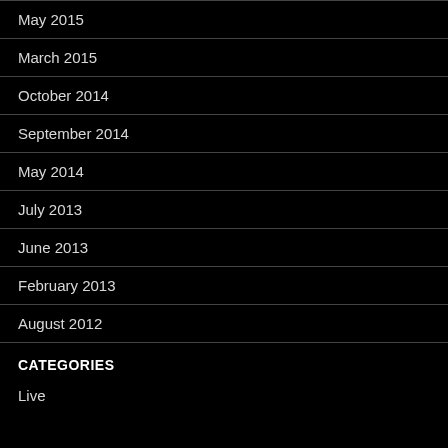May 2015
March 2015
October 2014
September 2014
May 2014
July 2013
June 2013
February 2013
August 2012
CATEGORIES
Live